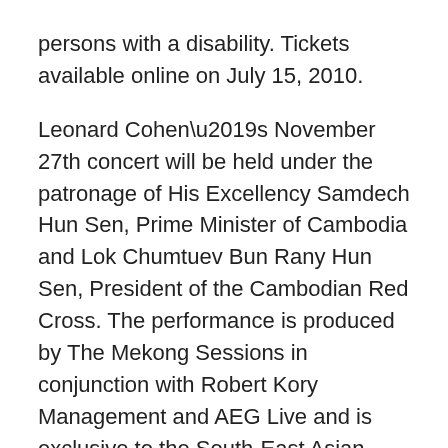persons with a disability. Tickets available online on July 15, 2010.
Leonard Cohen’s November 27th concert will be held under the patronage of His Excellency Samdech Hun Sen, Prime Minister of Cambodia and Lok Chumtuev Bun Rany Hun Sen, President of the Cambodian Red Cross. The performance is produced by The Mekong Sessions in conjunction with Robert Kory Management and AEG Live and is exclusive to the South-East Asian region.
Cohen’s legendary artistry and his performance, referred to by many as a “spiritual experience,” at the architecturally significant Stadium in one of the world’s most intriguing and reemerging cities is intended to be more than just a unique evening of